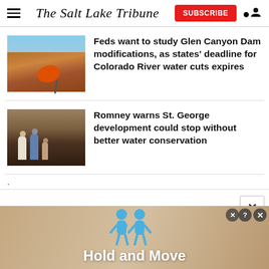The Salt Lake Tribune
[Figure (photo): Buoy resting on cracked dry lakebed in red rock desert landscape, Glen Canyon area]
Feds want to study Glen Canyon Dam modifications, as states' deadline for Colorado River water cuts expires
[Figure (photo): People standing near a water source or cave opening in a rocky landscape, Romney at St. George]
Romney warns St. George development could stop without better water conservation
.
[Figure (screenshot): Advertisement banner showing two blue figures and text 'Hold and Move']